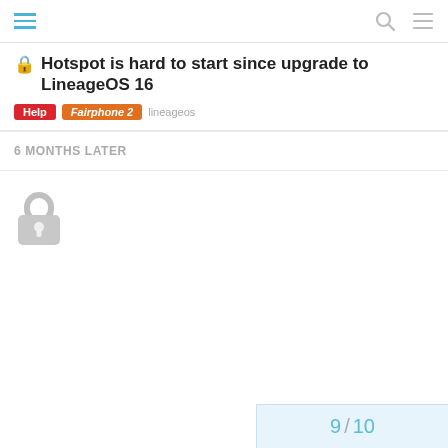Navigation header with hamburger menu, search icon, and menu icon
🔒 Hotspot is hard to start since upgrade to LineageOS 16
Help   Fairphone 2   lineageos
6 MONTHS LATER
[Figure (other): Large grey padlock icon indicating topic is locked]
9 / 10